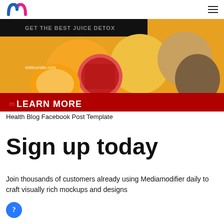m (Mediamodifier logo) — hamburger menu
[Figure (photo): A health blog Facebook post template mockup showing colorful fruits (oranges, pomegranate, kiwi) with text 'visitoursite.com' and a dark header area with 'GET THE BEST JUICE DETOX', and a red banner at bottom reading 'LEARN MORE']
Health Blog Facebook Post Template
Sign up today
Join thousands of customers already using Mediamodifier daily to craft visually rich mockups and designs